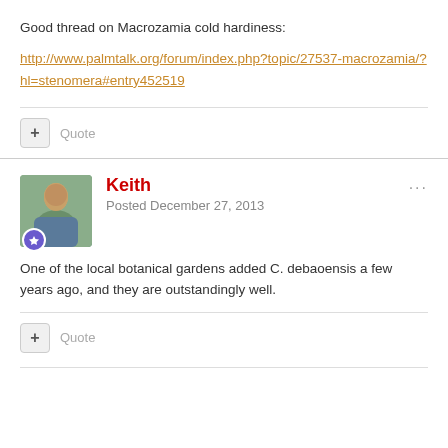Good thread on Macrozamia cold hardiness:
http://www.palmtalk.org/forum/index.php?topic/27537-macrozamia/?hl=stenomera#entry452519
Quote
Keith
Posted December 27, 2013
One of the local botanical gardens added C. debaoensis a few years ago, and they are outstandingly well.
Quote